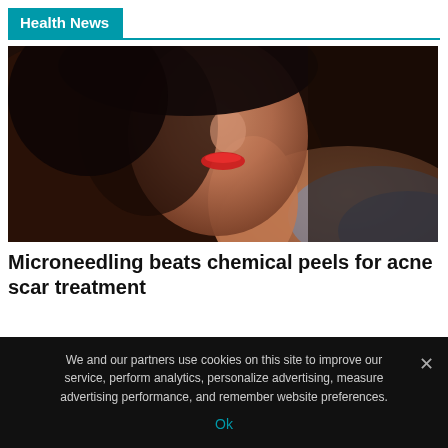Health News
[Figure (photo): Close-up portrait of a woman's face and neck in profile against a dark background, wearing red lipstick and a blue top, shoulder visible]
Microneedling beats chemical peels for acne scar treatment
We and our partners use cookies on this site to improve our service, perform analytics, personalize advertising, measure advertising performance, and remember website preferences.
Ok